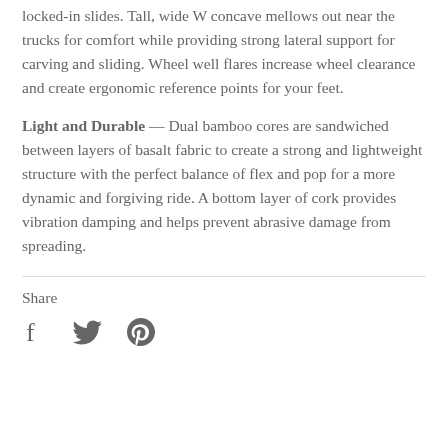locked-in slides. Tall, wide W concave mellows out near the trucks for comfort while providing strong lateral support for carving and sliding. Wheel well flares increase wheel clearance and create ergonomic reference points for your feet.
Light and Durable — Dual bamboo cores are sandwiched between layers of basalt fabric to create a strong and lightweight structure with the perfect balance of flex and pop for a more dynamic and forgiving ride. A bottom layer of cork provides vibration damping and helps prevent abrasive damage from spreading.
Share
[Figure (other): Social share icons: Facebook (f), Twitter (bird), Pinterest (P)]